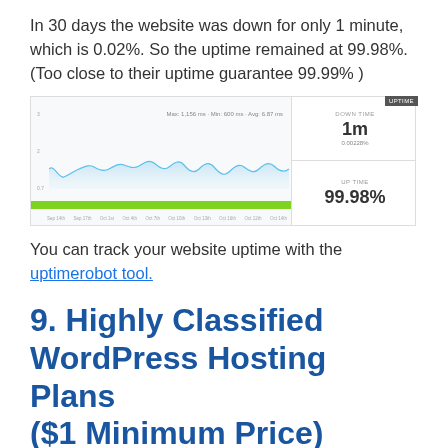In 30 days the website was down for only 1 minute, which is 0.02%. So the uptime remained at 99.98%. (Too close to their uptime guarantee 99.99% )
[Figure (continuous-plot): Uptime monitoring chart showing response time over ~30 days with a green uptime bar. Right panel shows downtime of 1m (0.02281%) and uptime of 99.98%.]
You can track your website uptime with the uptimerobot tool.
9. Highly Classified WordPress Hosting Plans ($1 Minimum Price)